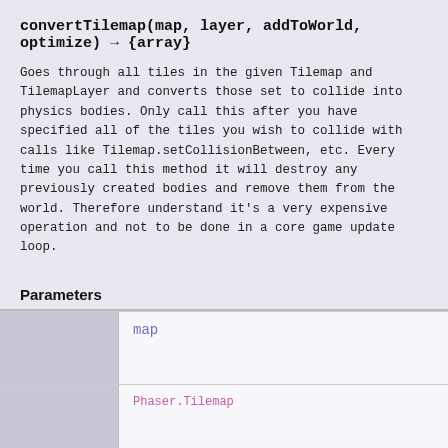convertTilemap(map, layer, addToWorld, optimize) → {array}
Goes through all tiles in the given Tilemap and TilemapLayer and converts those set to collide into physics bodies. Only call this after you have specified all of the tiles you wish to collide with calls like Tilemap.setCollisionBetween, etc. Every time you call this method it will destroy any previously created bodies and remove them from the world. Therefore understand it's a very expensive operation and not to be done in a core game update loop.
Parameters
|  |  |
| --- | --- |
|  | map |
|  | Phaser.Tilemap |
|  |  |
|  |  |
|  |  |